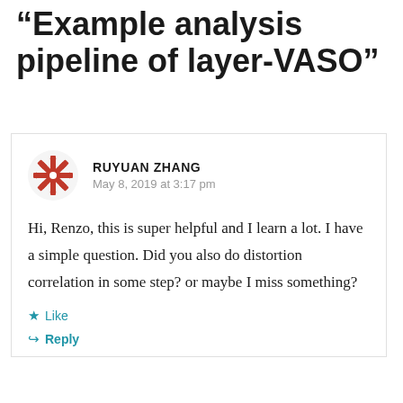“Example analysis pipeline of layer-VASO”
RUYUAN ZHANG
May 8, 2019 at 3:17 pm
Hi, Renzo, this is super helpful and I learn a lot. I have a simple question. Did you also do distortion correlation in some step? or maybe I miss something?